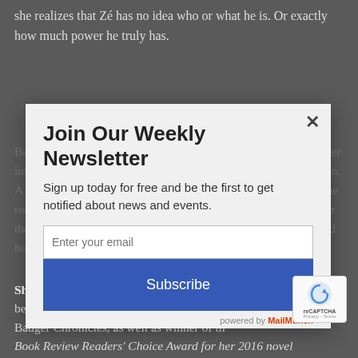she realizes that Zé has no idea who or what he is. Or exactly how much power he truly has.
Join Our Weekly Newsletter
Sign up today for free and be the first to get notified about news and events.
Enter your email
Subscribe
powered by MailMunch
But Max is more than happy to bring this handsome jaguar shifter into her world and show him everything he's been missing out on. A move that might be the dumbest thing she's ever done once she realizes how far her enemies will go to wipe her out. Too bad for them Zé is willing to do whatever it takes to keep her alive... and honey badgers are just so damn hard to kill!
About the Author
Shelly Laurenston is the New York Times and USA Today bestselling author of the Pride, Call of Crows, and Honey Badger Chronicles, as well as winner of the Book Review Readers' Choice Award for her 2016 novel